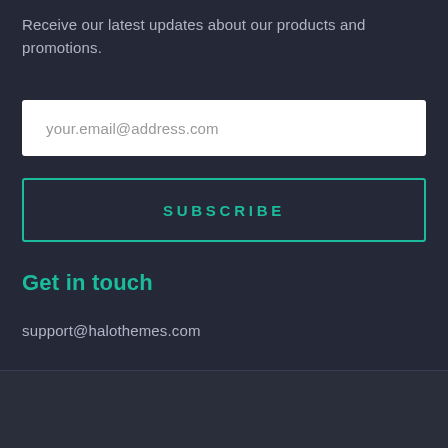Receive our latest updates about our products and promotions.
your.email@address.com
SUBSCRIBE
Get in touch
support@halothemes.com
Bigcommerce Themes & Templates